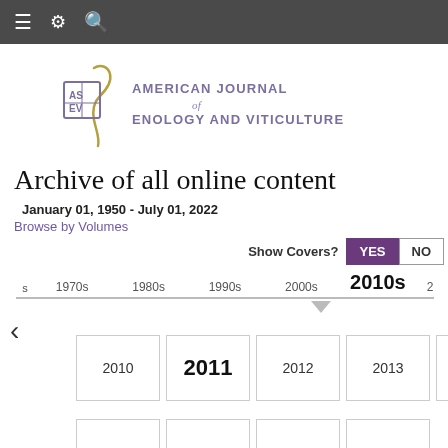navigation bar with menu, settings, and search icons
[Figure (logo): American Journal of Enology and Viticulture logo with ASEV emblem and decorative swoosh]
Archive of all online content
January 01, 1950 - July 01, 2022
Browse by Volumes
Show Covers? YES NO
[Figure (infographic): Decade timeline showing 1970s, 1980s, 1990s, 2000s, 2010s (active/bold), 2020s with a horizontal line and back arrow]
2010  2011  2012  2013  2014 year selection buttons with 2011 active/selected